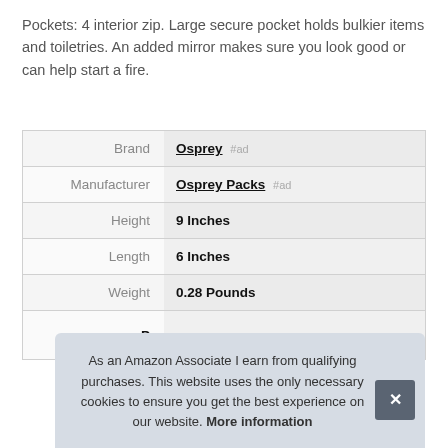Pockets: 4 interior zip. Large secure pocket holds bulkier items and toiletries. An added mirror makes sure you look good or can help start a fire.
|  |  |
| --- | --- |
| Brand | Osprey #ad |
| Manufacturer | Osprey Packs #ad |
| Height | 9 Inches |
| Length | 6 Inches |
| Weight | 0.28 Pounds |
| P |  |
As an Amazon Associate I earn from qualifying purchases. This website uses the only necessary cookies to ensure you get the best experience on our website. More information